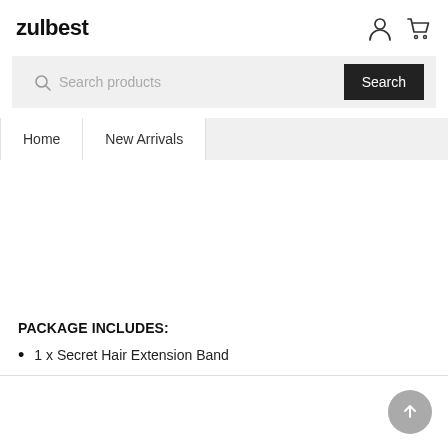zulbest
Search products
Home | New Arrivals
PACKAGE INCLUDES:
1 x Secret Hair Extension Band